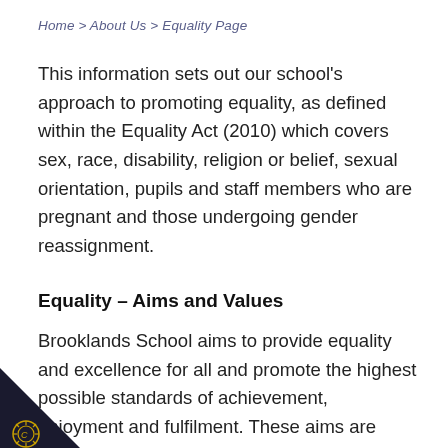Home > About Us > Equality Page
This information sets out our school's approach to promoting equality, as defined within the Equality Act (2010) which covers sex, race, disability, religion or belief, sexual orientation, pupils and staff members who are pregnant and those undergoing gender reassignment.
Equality – Aims and Values
Brooklands School aims to provide equality and excellence for all and promote the highest possible standards of achievement, enjoyment and fulfilment. These aims are promoted through our school Values, specifically: